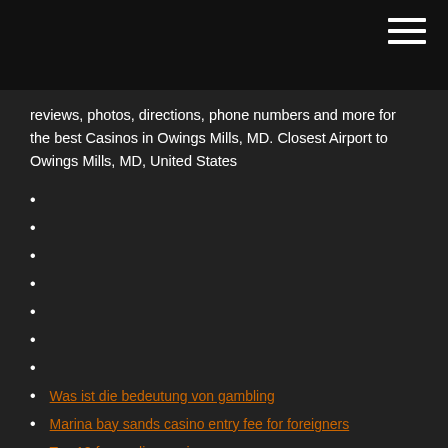reviews, photos, directions, phone numbers and more for the best Casinos in Owings Mills, MD. Closest Airport to Owings Mills, MD, United States
Was ist die bedeutung von gambling
Marina bay sands casino entry fee for foreigners
Top 10 free online casino games
Put poker on a resume